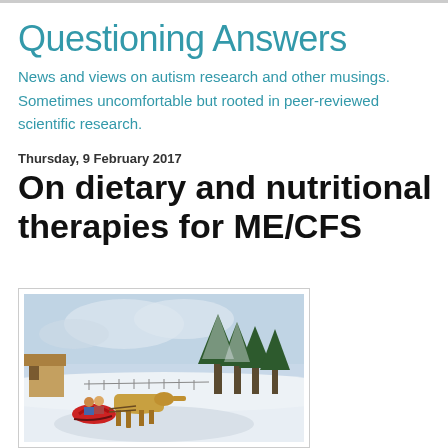Questioning Answers
News and views on autism research and other musings. Sometimes uncomfortable but rooted in peer-reviewed scientific research.
Thursday, 9 February 2017
On dietary and nutritional therapies for ME/CFS
[Figure (illustration): A winter scene painting showing a horse-drawn sleigh with passengers riding through a snowy landscape with trees and buildings in the background.]